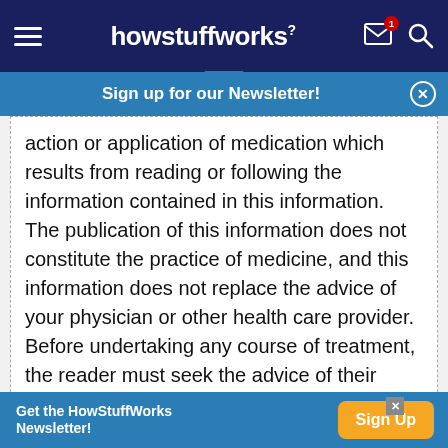howstuffworks
Sign up for our Newsletter!
action or application of medication which results from reading or following the information contained in this information. The publication of this information does not constitute the practice of medicine, and this information does not replace the advice of your physician or other health care provider. Before undertaking any course of treatment, the reader must seek the advice of their physician or other health care provider.
Advertisement
[Figure (other): Gray advertisement placeholder box]
Get the HowStuffWorks Newsletter! Sign Up